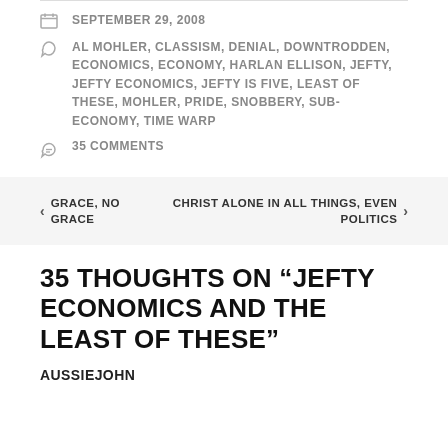SEPTEMBER 29, 2008
AL MOHLER, CLASSISM, DENIAL, DOWNTRODDEN, ECONOMICS, ECONOMY, HARLAN ELLISON, JEFTY, JEFTY ECONOMICS, JEFTY IS FIVE, LEAST OF THESE, MOHLER, PRIDE, SNOBBERY, SUB-ECONOMY, TIME WARP
35 COMMENTS
GRACE, NO GRACE
CHRIST ALONE IN ALL THINGS, EVEN POLITICS
35 THOUGHTS ON “JEFTY ECONOMICS AND THE LEAST OF THESE”
AUSSIEJOHN